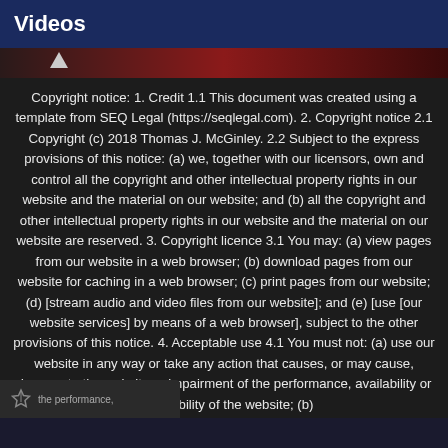Videos
[Figure (screenshot): Dark video thumbnail strip with a small triangle/play indicator on the left]
Copyright notice: 1. Credit 1.1 This document was created using a template from SEQ Legal (https://seqlegal.com). 2. Copyright notice 2.1 Copyright (c) 2018 Thomas J. McGinley. 2.2 Subject to the express provisions of this notice: (a) we, together with our licensors, own and control all the copyright and other intellectual property rights in our website and the material on our website; and (b) all the copyright and other intellectual property rights in our website and the material on our website are reserved. 3. Copyright licence 3.1 You may: (a) view pages from our website in a web browser; (b) download pages from our website for caching in a web browser; (c) print pages from our website; (d) [stream audio and video files from our website]; and (e) [use [our website services] by means of a web browser], subject to the other provisions of this notice. 4. Acceptable use 4.1 You must not: (a) use our website in any way or take any action that causes, or may cause, damage to the website or impairment of the performance, availability or accessibility of the website; (b)